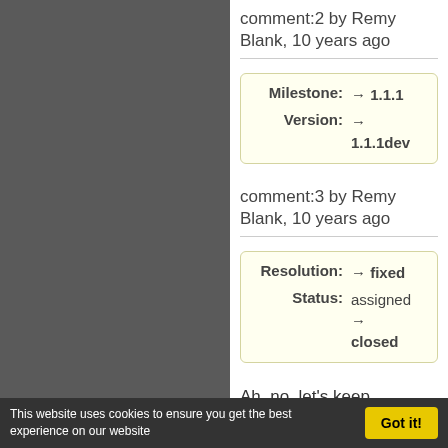comment:2 by Remy Blank, 10 years ago
[Figure (other): Change box showing Milestone: → 1.1.1 and Version: → 1.1.1dev]
comment:3 by Remy Blank, 10 years ago
[Figure (other): Change box showing Resolution: → fixed and Status: assigned → closed]
Ah, no, let's keep sub_vars() as
This website uses cookies to ensure you get the best experience on our website  Got it!